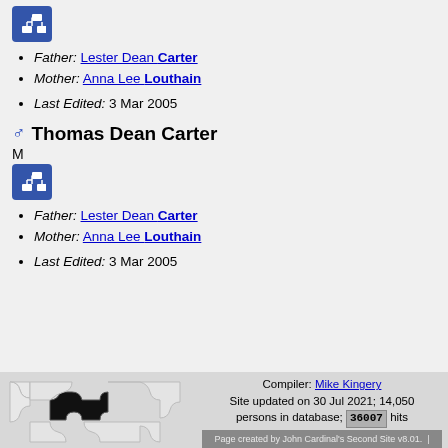[Figure (other): Blue family tree icon button (grid/hierarchy symbol)]
Father: Lester Dean Carter
Mother: Anna Lee Louthain
Last Edited: 3 Mar 2005
Thomas Dean Carter
M
[Figure (other): Blue family tree icon button (grid/hierarchy symbol)]
Father: Lester Dean Carter
Mother: Anna Lee Louthain
Last Edited: 3 Mar 2005
[Figure (photo): Puzzle pieces image with a black missing piece in center]
Compiler: Mike Kingery
Site updated on 30 Jul 2021; 14,050 persons in database; 36007 hits
Page created by John Cardinal's Second Site v8.01. | Web site design by John Cardinal based on an idea by Jeremy D